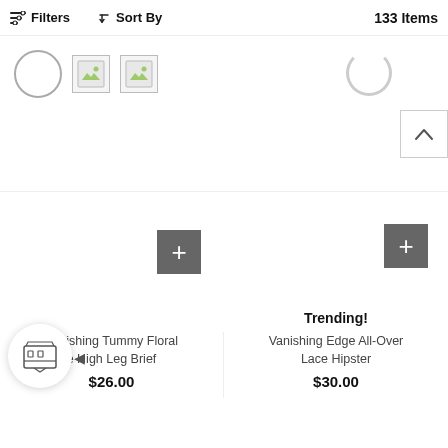Filters  Sort By  133 Items
[Figure (screenshot): E-commerce product listing page showing toolbar with Filters, Sort By, and 133 Items count. Below are loading placeholder images (circle and broken image icons on left, spinner on right). Bottom half shows two product cards: left card has a gray + add button and product name 'Vanishing Tummy Floral e High Leg Brief' priced at $26.00 with a storefront chat icon overlay; right card has 'Trending!' badge, gray + add button, product name 'Vanishing Edge All-Over Lace Hipster' priced at $30.00. A scroll-to-top arrow button appears top right of right card.]
Vanishing Tummy Floral e High Leg Brief
$26.00
Trending!
Vanishing Edge All-Over Lace Hipster
$30.00